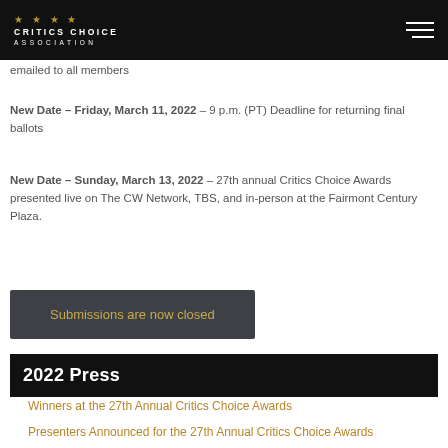Critics Choice Association
emailed to all members
New Date – Friday, March 11, 2022 – 9 p.m. (PT) Deadline for returning final ballots
New Date – Sunday, March 13, 2022 – 27th annual Critics Choice Awards presented live on The CW Network, TBS, and in-person at the Fairmont Century Plaza.
Submissions are now closed
2022 Press
Winners at the 27th Annual Critics Choice Awards
Presenters Announced for the 27th Annual Critics Choice Awards